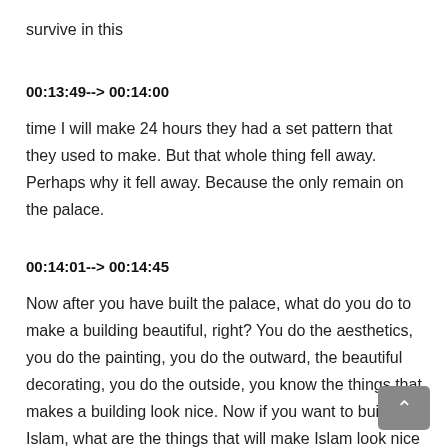survive in this
00:13:49--> 00:14:00
time I will make 24 hours they had a set pattern that they used to make. But that whole thing fell away. Perhaps why it fell away. Because the only remain on the palace.
00:14:01--> 00:14:45
Now after you have built the palace, what do you do to make a building beautiful, right? You do the aesthetics, you do the painting, you do the outward, the beautiful decorating, you do the outside, you know the things that makes a building look nice. Now if you want to build Islam, what are the things that will make Islam look nice to others? two things. One is your business dealings with other people